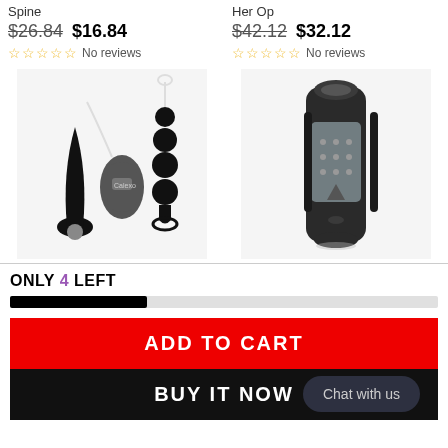Spine
Her Op
$26.84 $16.84
$42.12 $32.12
No reviews
No reviews
[Figure (photo): Black anal plug set with remote controller and beaded toy]
[Figure (photo): Black cylindrical male masturbator device]
ONLY 4 LEFT
ADD TO CART
BUY IT NOW
Chat with us